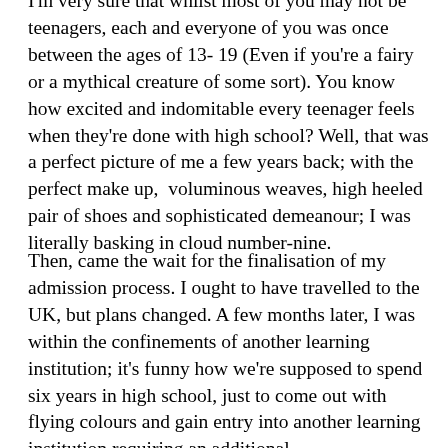I'm very sure that whilst most of you may not be teenagers, each and everyone of you was once between the ages of 13- 19 (Even if you're a fairy or a mythical creature of some sort). You know how excited and indomitable every teenager feels when they're done with high school? Well, that was a perfect picture of me a few years back; with the perfect make up,  voluminous weaves, high heeled pair of shoes and sophisticated demeanour; I was literally basking in cloud number-nine.
Then, came the wait for the finalisation of my admission process. I ought to have travelled to the UK, but plans changed. A few months later, I was within the confinements of another learning institution; it's funny how we're supposed to spend six years in high school, just to come out with flying colours and gain entry into another learning institution requiring an additional